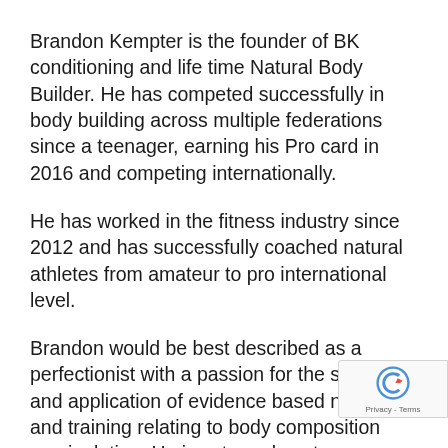Brandon Kempter is the founder of BK conditioning and life time Natural Body Builder. He has competed successfully in body building across multiple federations since a teenager, earning his Pro card in 2016 and competing internationally.
He has worked in the fitness industry since 2012 and has successfully coached natural athletes from amateur to pro international level.
Brandon would be best described as a perfectionist with a passion for the science and application of evidence based nutrition and training relating to body composition manipulation. He is extremely outcome